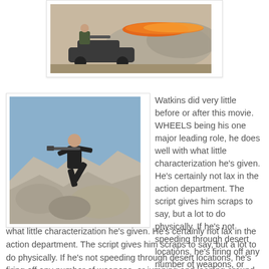[Figure (photo): A man on a vehicle firing a flamethrower, producing a large orange flame, with smoke and dust in a desert setting.]
[Figure (photo): A man in dark clothing holding a rifle, jumping or leaping over rocky terrain with a blue sky background.]
Watkins did very little before or after this movie. WHEELS being his one major leading role, he does well with what little characterization he's given. He's certainly not lax in the action department. The script gives him scraps to say, but a lot to do physically. If he's not speeding through desert locations, he's firing off any number of weapons, or jumping and leaping around dozens of villains he fills full of lead or engulfs in